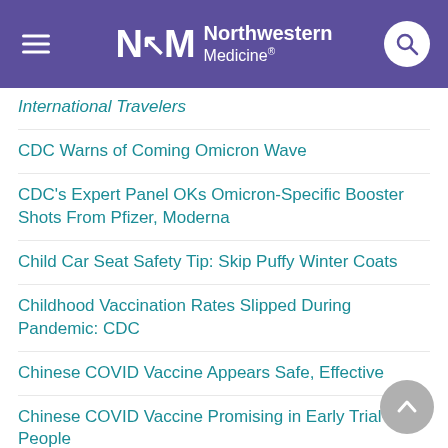Northwestern Medicine
International Travelers
CDC Warns of Coming Omicron Wave
CDC's Expert Panel OKs Omicron-Specific Booster Shots From Pfizer, Moderna
Child Car Seat Safety Tip: Skip Puffy Winter Coats
Childhood Vaccination Rates Slipped During Pandemic: CDC
Chinese COVID Vaccine Appears Safe, Effective
Chinese COVID Vaccine Promising in Early Trial in People
Chinese COVID Vaccine Shows Promise in Early Trial
College Kid Coming Home for Thanksgiving?...